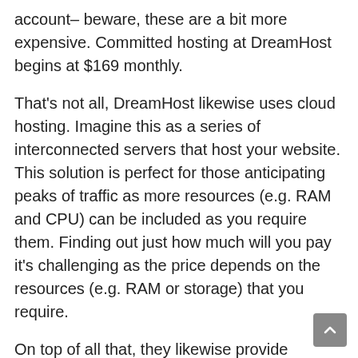account– beware, these are a bit more expensive. Committed hosting at DreamHost begins at $169 monthly.
That's not all, DreamHost likewise uses cloud hosting. Imagine this as a series of interconnected servers that host your website. This solution is perfect for those anticipating peaks of traffic as more resources (e.g. RAM and CPU) can be included as you require them. Finding out just how much will you pay it's challenging as the price depends on the resources (e.g. RAM or storage) that you require.
On top of all that, they likewise provide WordPress hosting plans– they have special WordPress bundles for their shared and VPS hosting. If you 'd like automatic updates, staging areas and devoted WordPress support, you can opt-in for Managed WordPress account. Shared WordPress hosting